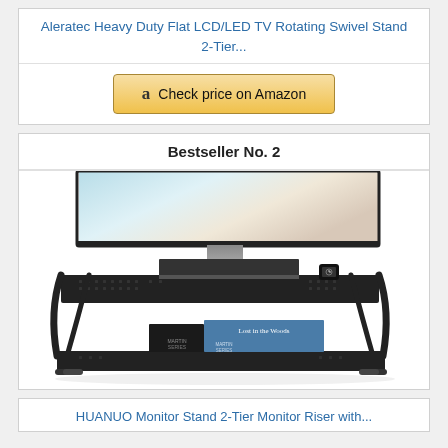Aleratec Heavy Duty Flat LCD/LED TV Rotating Swivel Stand 2-Tier...
Check price on Amazon
Bestseller No. 2
[Figure (photo): A two-tier metal mesh monitor stand (black) with a laptop or external drive on the top shelf, a smartwatch, and books on the lower shelf. A wide monitor is shown mounted above the stand.]
HUANUO Monitor Stand 2-Tier Monitor Riser with...